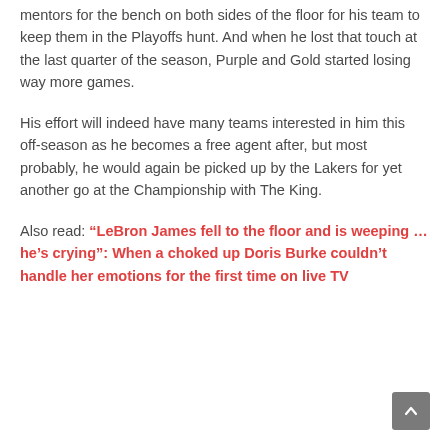mentors for the bench on both sides of the floor for his team to keep them in the Playoffs hunt. And when he lost that touch at the last quarter of the season, Purple and Gold started losing way more games.
His effort will indeed have many teams interested in him this off-season as he becomes a free agent after, but most probably, he would again be picked up by the Lakers for yet another go at the Championship with The King.
Also read: “LeBron James fell to the floor and is weeping … he’s crying”: When a choked up Doris Burke couldn’t handle her emotions for the first time on live TV